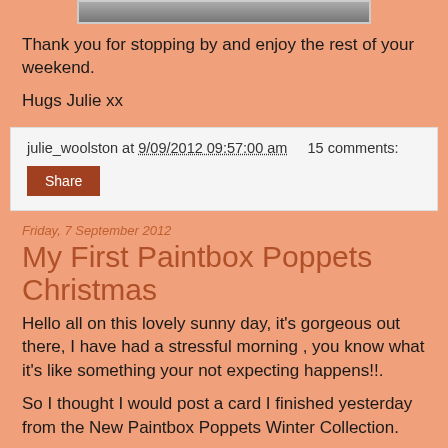[Figure (photo): Partially visible image at the top of the page, cropped — showing a dark horizontal bar against a white background]
Thank you for stopping by and enjoy the rest of your weekend.
Hugs Julie xx
julie_woolston at 9/09/2012 09:57:00 am    15 comments:
Share
Friday, 7 September 2012
My First Paintbox Poppets Christmas
Hello all on this lovely sunny day, it's gorgeous out there, I have had a stressful morning , you know what it's like something your not expecting happens!!.
So I thought I would post a card I finished yesterday from the New Paintbox Poppets Winter Collection.